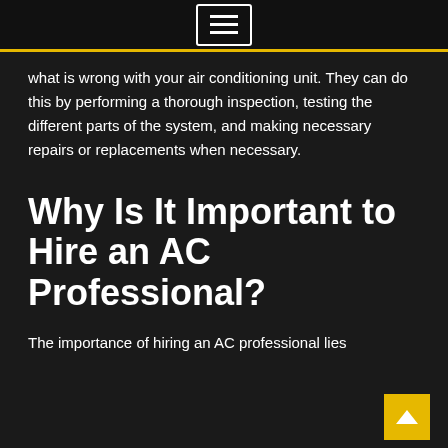≡
what is wrong with your air conditioning unit. They can do this by performing a thorough inspection, testing the different parts of the system, and making necessary repairs or replacements when necessary.
Why Is It Important to Hire an AC Professional?
The importance of hiring an AC professional lies